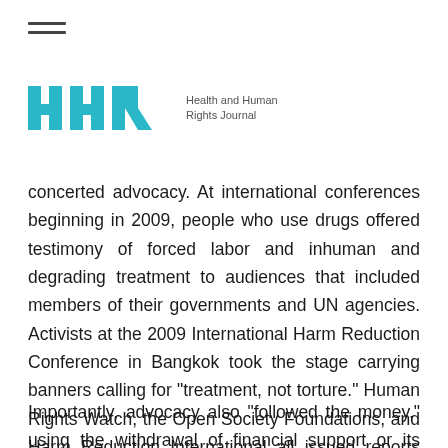HHR Health and Human Rights Journal
concerted advocacy. At international conferences beginning in 2009, people who use drugs offered testimony of forced labor and inhuman and degrading treatment to audiences that included members of their governments and UN agencies. Activists at the 2009 International Harm Reduction Conference in Bangkok took the stage carrying banners calling for “treatment, not torture.” Human Rights Watch, the Open Society Foundations, and Harm Reduction International all issued reports documenting violations of human rights and international law in Asian drug detention centers.[9]
Importantly, advocacy also “followed the money,” using the withdrawal of financial support or its threat as a lever for